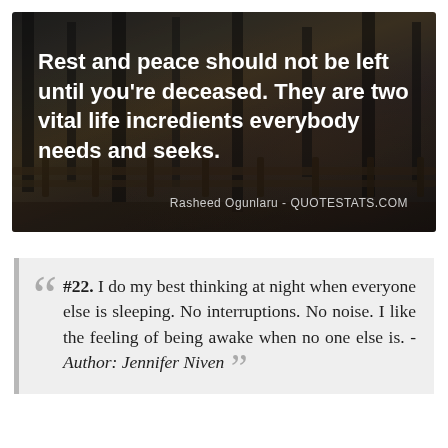[Figure (photo): Dark forest scene with trees and a wooden fence, serving as background for an inspirational quote]
Rest and peace should not be left until you're deceased. They are two vital life incredients everybody needs and seeks.
Rasheed Ogunlaru - QUOTESTATS.COM
#22. I do my best thinking at night when everyone else is sleeping. No interruptions. No noise. I like the feeling of being awake when no one else is. - Author: Jennifer Niven